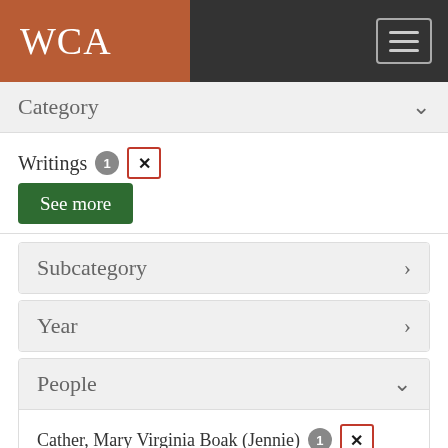WCA
Category
Writings 1 ✕
See more
Subcategory
Year
People
Cather, Mary Virginia Boak (Jennie) 1 ✕
Frisbie, Frank 1 ✕